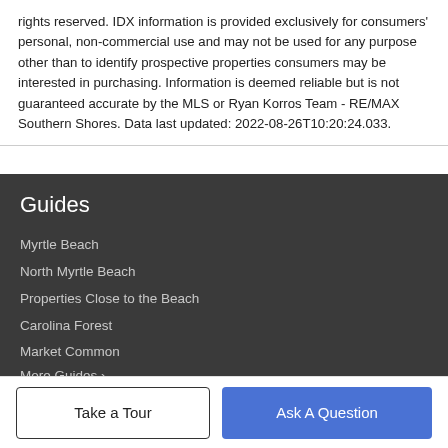rights reserved. IDX information is provided exclusively for consumers' personal, non-commercial use and may not be used for any purpose other than to identify prospective properties consumers may be interested in purchasing. Information is deemed reliable but is not guaranteed accurate by the MLS or Ryan Korros Team - RE/MAX Southern Shores. Data last updated: 2022-08-26T10:20:24.033.
Guides
Myrtle Beach
North Myrtle Beach
Properties Close to the Beach
Carolina Forest
Market Common
More Guides >
Take a Tour
Ask A Question